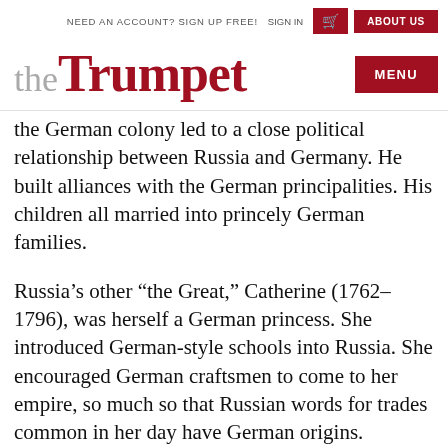NEED AN ACCOUNT? SIGN UP FREE!   SIGN IN   [cart icon]   ABOUT US
theTrumpet
the German colony led to a close political relationship between Russia and Germany. He built alliances with the German principalities. His children all married into princely German families.
Russia’s other “the Great,” Catherine (1762–1796), was herself a German princess. She introduced German-style schools into Russia. She encouraged German craftsmen to come to her empire, so much so that Russian words for trades common in her day have German origins. She also bro…